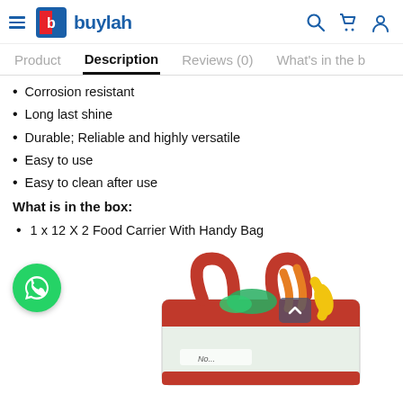buylah — navigation header with hamburger menu, logo, search, cart, and user icons
Product | Description | Reviews (0) | What's in the b...
Corrosion resistant
Long last shine
Durable; Reliable and highly versatile
Easy to use
Easy to clean after use
What is in the box:
1 x 12 X 2 Food Carrier With Handy Bag
[Figure (photo): Red food carrier handy bag filled with vegetables including carrots and corn, with a WhatsApp chat button overlay on the left and a scroll-to-top button in the middle]